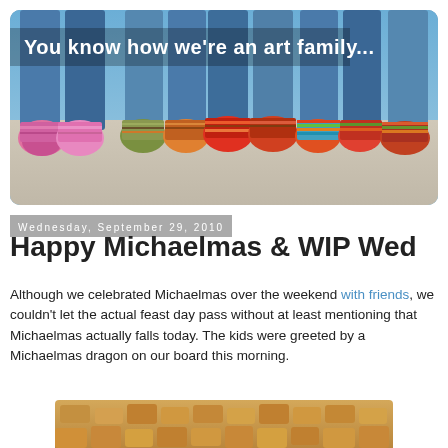[Figure (photo): Photo of multiple pairs of feet in colorful knitted socks lined up on carpet, with text overlay 'You know how we're an art family...']
Wednesday, September 29, 2010
Happy Michaelmas & WIP Wed
Although we celebrated Michaelmas over the weekend with friends, we couldn't let the actual feast day pass without at least mentioning that Michaelmas actually falls today. The kids were greeted by a Michaelmas dragon on our board this morning.
[Figure (photo): Photo of wine corks arranged together]